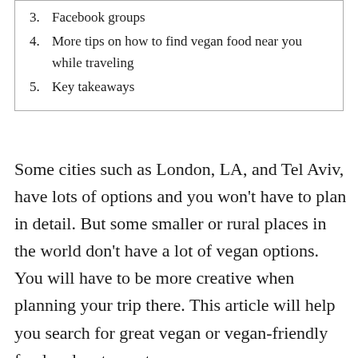3. Facebook groups
4. More tips on how to find vegan food near you while traveling
5. Key takeaways
Some cities such as London, LA, and Tel Aviv, have lots of options and you won’t have to plan in detail. But some smaller or rural places in the world don’t have a lot of vegan options. You will have to be more creative when planning your trip there. This article will help you search for great vegan or vegan-friendly food and restaurants near you.